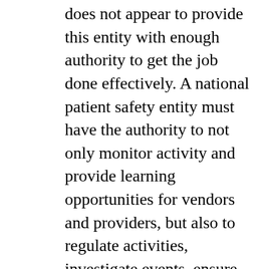does not appear to provide this entity with enough authority to get the job done effectively. A national patient safety entity must have the authority to not only monitor activity and provide learning opportunities for vendors and providers, but also to regulate activities, investigate events, ensure issue resolution and require compliance. I do not see enough "teeth" given to the entity proposed by the FDASIA report.
The primary focus of a national Health IT Patient Safety Center should be on the dedicated surveillance of HIT-related safety risks and to promote learning from identified issues, potential adverse events (“close calls”) and adverse events. But it must also have the authority to effectively manage identified risks